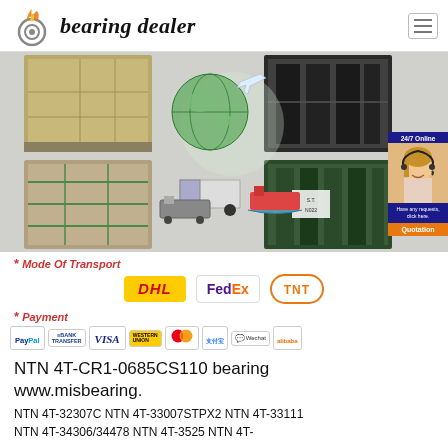bearing dealer
[Figure (photo): Collage of shipping/transport images: cardboard boxes on pallets, global transport illustration with airplane/truck/ship, dark packaged goods, wooden crated goods, and a 24/7 online customer service popup with agent photo and Quotation button]
* Mode Of Transport
[Figure (logo): DHL, FedEx, and TNT carrier logos]
* Payment
[Figure (logo): Payment method logos: PayPal, Bank Transfer, VISA, Western Union, Mastercard, Alipay, WeChat Pay, Alibaba]
NTN 4T-CR1-0685CS110 bearing www.misbearing.
NTN 4T-32307C NTN 4T-33007STPX2 NTN 4T-33111 NTN 4T-34306/34478 NTN 4T-3525 NTN 4T-